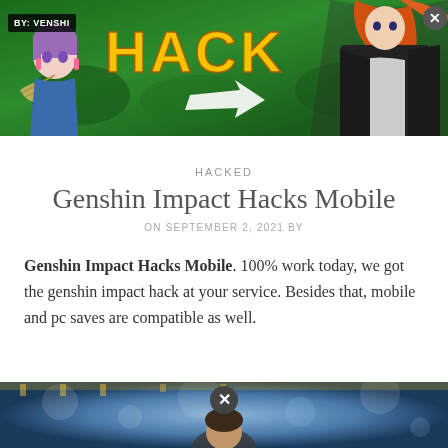[Figure (illustration): Genshin Impact Hacks banner ad with anime characters, yellow HACK text, green background, BY: VENSHI label, close button]
HACKED
Genshin Impact Hacks Mobile
ON SEPTEMBER 2, 2021 BY
Genshin Impact Hacks Mobile. 100% work today, we got the genshin impact hack at your service. Besides that, mobile and pc saves are compatible as well.
[Figure (photo): Bottom partial banner image with a person and bokeh background, with a circular close button]